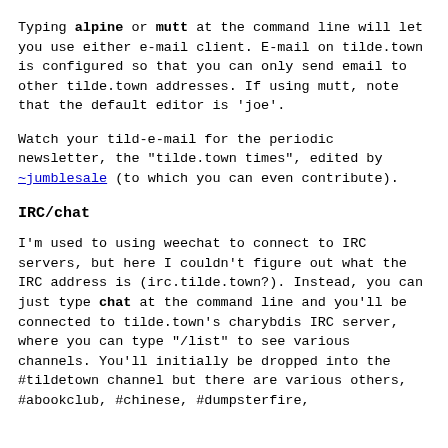Typing alpine or mutt at the command line will let you use either e-mail client. E-mail on tilde.town is configured so that you can only send email to other tilde.town addresses. If using mutt, note that the default editor is 'joe'.
Watch your tild-e-mail for the periodic newsletter, the "tilde.town times", edited by ~jumblesale (to which you can even contribute).
IRC/chat
I'm used to using weechat to connect to IRC servers, but here I couldn't figure out what the IRC address is (irc.tilde.town?). Instead, you can just type chat at the command line and you'll be connected to tilde.town's charybdis IRC server, where you can type "/list" to see various channels. You'll initially be dropped into the #tildetown channel but there are various others, #abookclub, #chinese, #dumpsterfire,